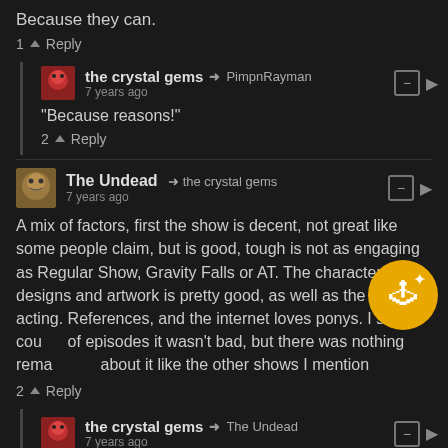Because they can.
1  Reply
the crystal gems → PimpnRayman
7 years ago
"Because reasons!"
2  Reply
The Undead → the crystal gems
7 years ago
A mix of factors, first the show is decent, not great like some people claim, but is good, tough is not as engaging as Regular Show, Gravity Falls or AT. The character designs and artwork is pretty good, as well as the voice acting. References, and the internet loves ponys. I saw a couple of episodes it wasn't bad, but there was nothing remarkable about it like the other shows I mention
2  Reply
the crystal gems → The Undead
7 years ago